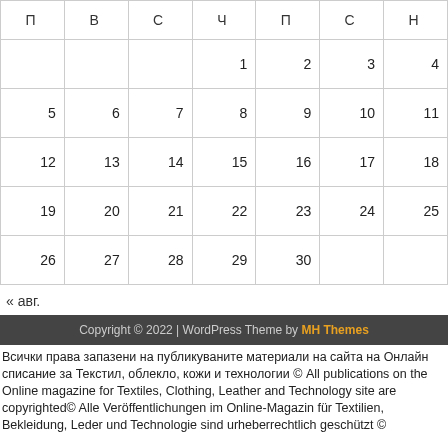| П | В | С | Ч | П | С | Н |
| --- | --- | --- | --- | --- | --- | --- |
|  |  |  | 1 | 2 | 3 | 4 |
| 5 | 6 | 7 | 8 | 9 | 10 | 11 |
| 12 | 13 | 14 | 15 | 16 | 17 | 18 |
| 19 | 20 | 21 | 22 | 23 | 24 | 25 |
| 26 | 27 | 28 | 29 | 30 |  |  |
« авг.
Copyright © 2022 | WordPress Theme by MH Themes
Всички права запазени на публикуваните материали на сайта на Онлайн списание за Текстил, облекло, кожи и технологии © All publications on the Online magazine for Textiles, Clothing, Leather and Technology site are copyrighted© Alle Veröffentlichungen im Online-Magazin für Textilien, Bekleidung, Leder und Technologie sind urheberrechtlich geschützt ©